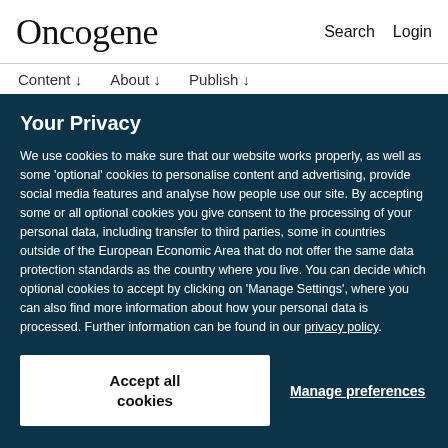Oncogene | Search | Login
Content ↓   About ↓   Publish ↓
Your Privacy
We use cookies to make sure that our website works properly, as well as some 'optional' cookies to personalise content and advertising, provide social media features and analyse how people use our site. By accepting some or all optional cookies you give consent to the processing of your personal data, including transfer to third parties, some in countries outside of the European Economic Area that do not offer the same data protection standards as the country where you live. You can decide which optional cookies to accept by clicking on 'Manage Settings', where you can also find more information about how your personal data is processed. Further information can be found in our privacy policy.
Accept all cookies
Manage preferences